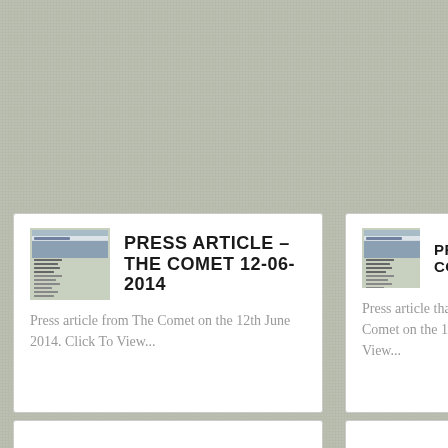[Figure (other): Card: Press Article – The Comet 12-06-2014 with thumbnail image of newspaper and text excerpt]
PRESS ARTICLE – THE COMET 12-06-2014
Press article from The Comet on the 12th June 2014. Click To View...
[Figure (other): Card (partial, right side): Press ... Comet ... with thumbnail image]
PRESS ... COMET...
Press article that ran in The Comet on the 1st Ma... To View...